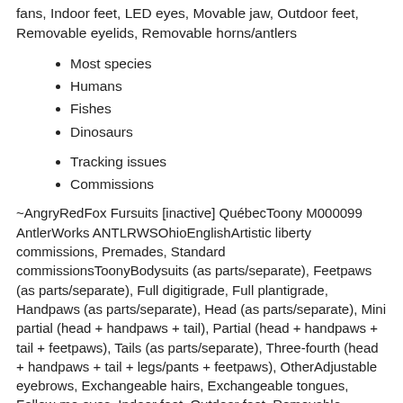fans, Indoor feet, LED eyes, Movable jaw, Outdoor feet, Removable eyelids, Removable horns/antlers
Most species
Humans
Fishes
Dinosaurs
Tracking issues
Commissions
~AngryRedFox Fursuits [inactive] QuébecToony M000099 AntlerWorks ANTLRWSOhioEnglishArtistic liberty commissions, Premades, Standard commissionsToonyBodysuits (as parts/separate), Feetpaws (as parts/separate), Full digitigrade, Full plantigrade, Handpaws (as parts/separate), Head (as parts/separate), Mini partial (head + handpaws + tail), Partial (head + handpaws + tail + feetpaws), Tails (as parts/separate), Three-fourth (head + handpaws + tail + legs/pants + feetpaws), OtherAdjustable eyebrows, Exchangeable hairs, Exchangeable tongues, Follow-me eyes, Indoor feet, Outdoor feet, Removable eyelids, Removable horns/antlers, Washable heads, Other Sours: https://getfursu.it/
The girl jumped up with a bullet, pulled the tip out